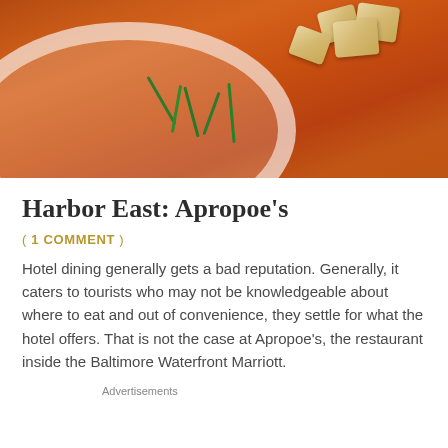[Figure (photo): Close-up photograph of a bowl of orange/red tomato soup topped with chopped green chives and golden croutons]
Harbor East: Apropoe's
( 1 COMMENT )
Hotel dining generally gets a bad reputation. Generally, it caters to tourists who may not be knowledgeable about where to eat and out of convenience, they settle for what the hotel offers. That is not the case at Apropoe's, the restaurant inside the Baltimore Waterfront Marriott.
Advertisements